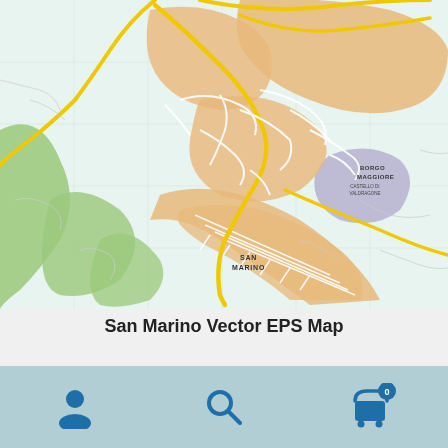[Figure (map): Vector map of San Marino showing roads, urban areas (orange), green terrain, a purple district labeled Borgo Maggiore, yellow major roads, white minor roads, and the label SAN MARINO in the center-lower area.]
San Marino Vector EPS Map
price (partially visible)
Navigation bar with user icon, search icon, and cart icon with badge 0